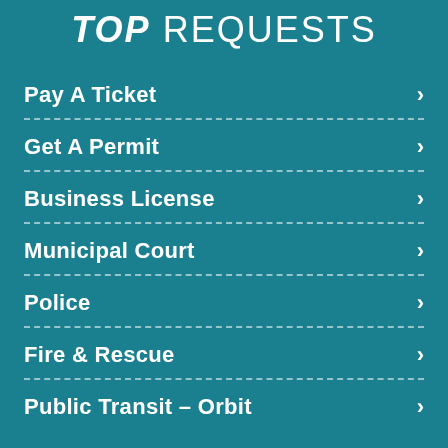TOP REQUESTS
Pay A Ticket
Get A Permit
Business License
Municipal Court
Police
Fire & Rescue
Public Transit – Orbit